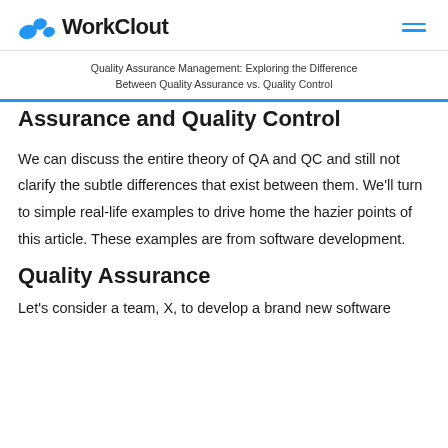WorkClout
Quality Assurance Management: Exploring the Difference Between Quality Assurance vs. Quality Control
Assurance and Quality Control
We can discuss the entire theory of QA and QC and still not clarify the subtle differences that exist between them. We’ll turn to simple real-life examples to drive home the hazier points of this article. These examples are from software development.
Quality Assurance
Let’s consider a team, X, to develop a brand new software